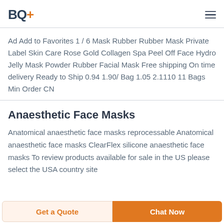BQ+
Ad Add to Favorites 1 / 6 Mask Rubber Rubber Mask Private Label Skin Care Rose Gold Collagen Spa Peel Off Face Hydro Jelly Mask Powder Rubber Facial Mask Free shipping On time delivery Ready to Ship 0.94 1.90/ Bag 1.05 2.1110 11 Bags Min Order CN
Anaesthetic Face Masks
Anatomical anaesthetic face masks reprocessable Anatomical anaesthetic face masks ClearFlex silicone anaesthetic face masks To review products available for sale in the US please select the USA country site